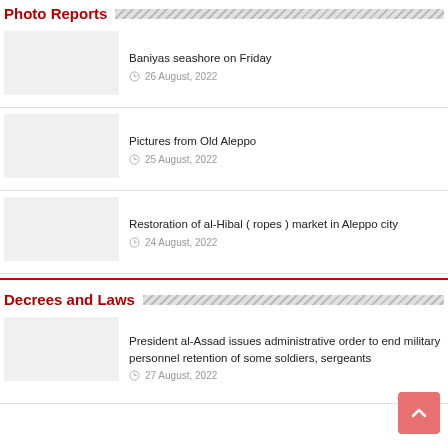Photo Reports
Baniyas seashore on Friday
26 August, 2022
Pictures from Old Aleppo
25 August, 2022
Restoration of al-Hibal ( ropes ) market in Aleppo city
24 August, 2022
Decrees and Laws
President al-Assad issues administrative order to end military personnel retention of some soldiers, sergeants
27 August, 2022